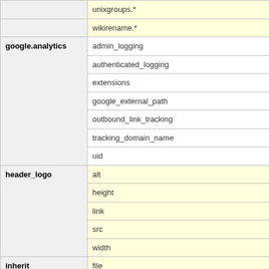| Section | Key |
| --- | --- |
|  | unixgroups.* |
|  | wikirename.* |
| google.analytics | admin_logging |
|  | authenticated_logging |
|  | extensions |
|  | google_external_path |
|  | outbound_link_tracking |
|  | tracking_domain_name |
|  | uid |
| header_logo | alt |
|  | height |
|  | link |
|  | src |
|  | width |
| inherit | file |
|  | htdocs_dir |
|  | plugins_dir |
|  | templates_dir |
| logging | log_file |
|  | log_format |
|  | log_level |
|  | log_type |
| milestone | state_provider |